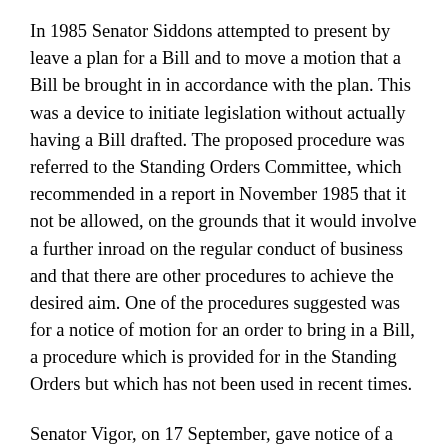In 1985 Senator Siddons attempted to present by leave a plan for a Bill and to move a motion that a Bill be brought in in accordance with the plan. This was a device to initiate legislation without actually having a Bill drafted. The proposed procedure was referred to the Standing Orders Committee, which recommended in a report in November 1985 that it not be allowed, on the grounds that it would involve a further inroad on the regular conduct of business and that there are other procedures to achieve the desired aim. One of the procedures suggested was for a notice of motion for an order to bring in a Bill, a procedure which is provided for in the Standing Orders but which has not been used in recent times.
Senator Vigor, on 17 September, gave notice of a motion for an order that the Minister for Finance bring in a Bill to ensure that proper consideration is given to Australian tenderers in the award of Commonwealth contracts. As suggested by the Standing Orders Committee, the notice of motion